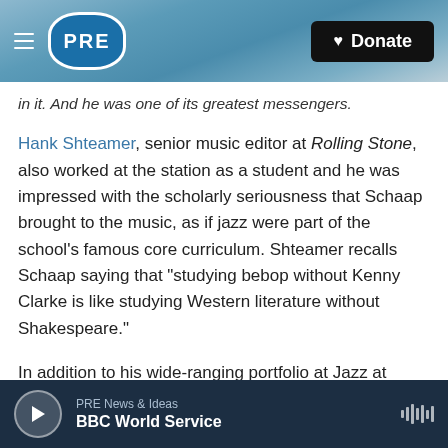PRE | Donate
in it. And he was one of its greatest messengers.
Hank Shteamer, senior music editor at Rolling Stone, also worked at the station as a student and he was impressed with the scholarly seriousness that Schaap brought to the music, as if jazz were part of the school's famous core curriculum. Shteamer recalls Schaap saying that "studying bebop without Kenny Clarke is like studying Western literature without Shakespeare."
In addition to his wide-ranging portfolio at Jazz at Lincoln Center, Schaap taught at Julliard, Columbia and Princeton. He was steadfast about the
PRE News & Ideas | BBC World Service